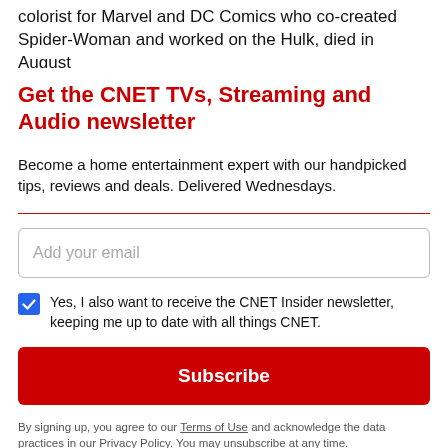colorist for Marvel and DC Comics who co-created Spider-Woman and worked on the Hulk, died in August
Get the CNET TVs, Streaming and Audio newsletter
Become a home entertainment expert with our handpicked tips, reviews and deals. Delivered Wednesdays.
Add your email
Yes, I also want to receive the CNET Insider newsletter, keeping me up to date with all things CNET.
Subscribe
By signing up, you agree to our Terms of Use and acknowledge the data practices in our Privacy Policy. You may unsubscribe at any time.